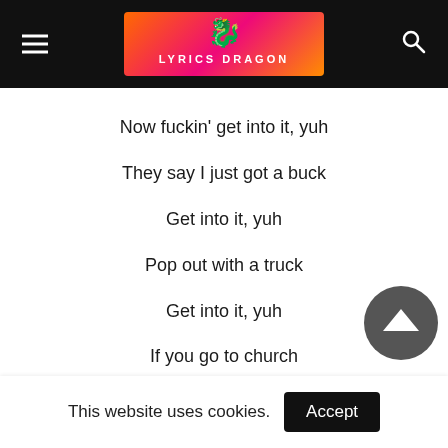Lyrics Dragon header with navigation
Now fuckin' get into it, yuh
They say I just got a buck
Get into it, yuh
Pop out with a truck
Get into it, yuh
If you go to church
Get into it, yuh
If she ain't got a butt
Fuckin' get into it, yuh

Yeah, you just wanna party
You just wanna lap dance
You just wanna pop up on these clowns like you're the Batman
You just wanna…
This website uses cookies.